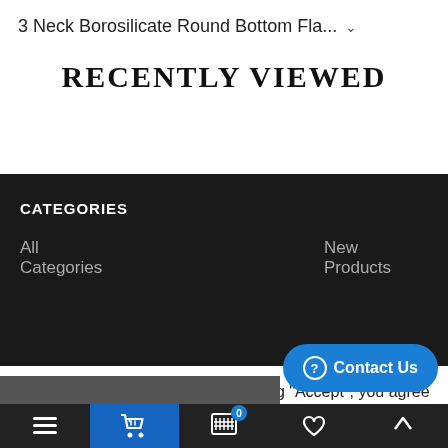3 Neck Borosilicate Round Bottom Fla... ▾
Recently Viewed
CATEGORIES
All Categories
New Products
By continuing to browse or by clicking "Accept", you agree to the storing of cookies on your device to enhance your site experience and for analytical purposes. To learn more about cookies, please visit www.aboutcookies.org